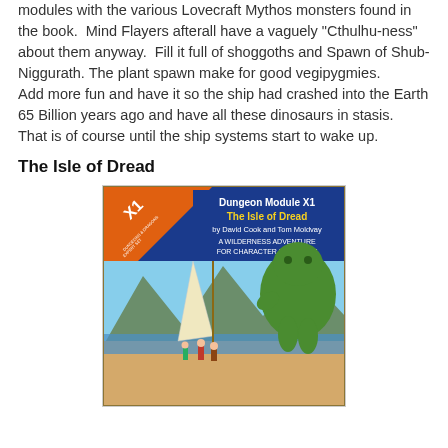modules with the various Lovecraft Mythos monsters found in the book. Mind Flayers afterall have a vaguely "Cthulhu-ness" about them anyway. Fill it full of shoggoths and Spawn of Shub-Niggurath. The plant spawn make for good vegipygmies.
Add more fun and have it so the ship had crashed into the Earth 65 Billion years ago and have all these dinosaurs in stasis. That is of course until the ship systems start to wake up.
The Isle of Dread
[Figure (illustration): Book cover of Dungeon Module X1: The Isle of Dread by David Cook and Tom Moldvay. A Wilderness Adventure for Character Levels 3-7. Shows a large green muscular creature and adventurers on a beach with mountains in background. Blue cover with orange diagonal banner in top-left corner marked X1.]